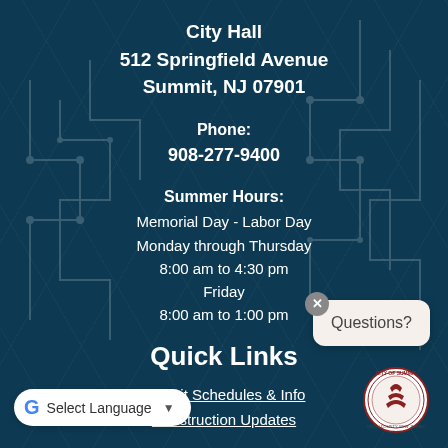City Hall
512 Springfield Avenue
Summit, NJ 07901
Phone:
908-277-9400
Summer Hours:
Memorial Day - Labor Day
Monday through Thursday
8:00 am to 4:30 pm
Friday
8:00 am to 1:00 pm
Quick Links
Transit Schedules & Info
Construction Updates
[Figure (other): Questions? chat bubble widget in top-right area]
[Figure (logo): Google Translate language selector widget bottom-left]
[Figure (logo): City of Summit circular seal bottom-right]